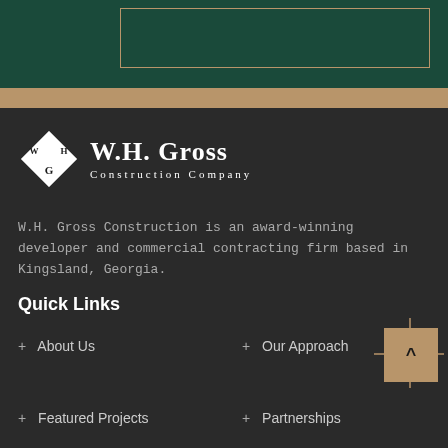[Figure (logo): W.H. Gross Construction Company logo with diamond monogram containing W, H, G letters and serif company name text]
W.H. Gross Construction is an award-winning developer and commercial contracting firm based in Kingsland, Georgia.
Quick Links
+ About Us
+ Our Approach
+ Featured Projects
+ Partnerships